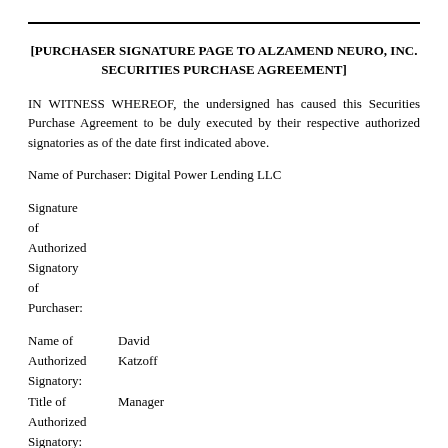[PURCHASER SIGNATURE PAGE TO ALZAMEND NEURO, INC. SECURITIES PURCHASE AGREEMENT]
IN WITNESS WHEREOF, the undersigned has caused this Securities Purchase Agreement to be duly executed by their respective authorized signatories as of the date first indicated above.
Name of Purchaser: Digital Power Lending LLC
Signature
of
Authorized
Signatory
of
Purchaser:
Name of Authorized Signatory: David Katzoff
Title of Authorized Signatory: Manager